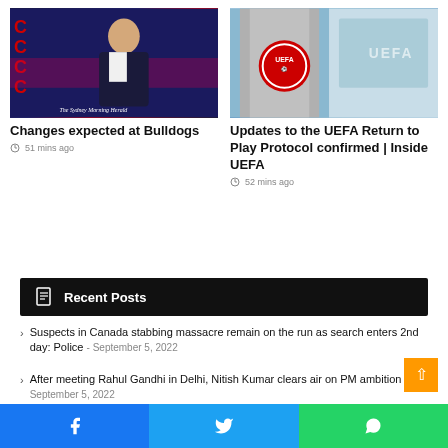[Figure (photo): TV news presenter in suit against a dark blue studio background with red accents and The Sydney Morning Herald watermark]
Changes expected at Bulldogs
51 mins ago
[Figure (photo): UEFA logo sign on a stone/concrete pedestal outside a building]
Updates to the UEFA Return to Play Protocol confirmed | Inside UEFA
52 mins ago
Recent Posts
Suspects in Canada stabbing massacre remain on the run as search enters 2nd day: Police - September 5, 2022
After meeting Rahul Gandhi in Delhi, Nitish Kumar clears air on PM ambition - September 5, 2022